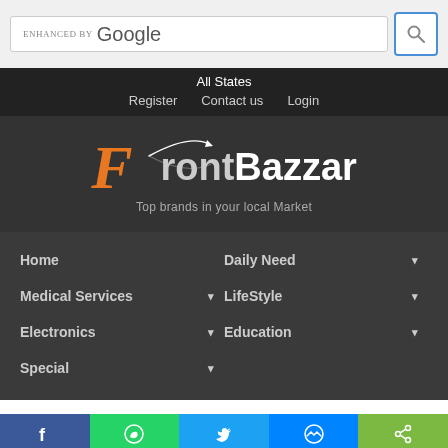[Figure (screenshot): Google search bar with 'ENHANCED BY Google' text and search button]
All States
Register   Contact us   Login
[Figure (logo): FrontBazzar logo with orange F, orbit swoosh, and tagline 'Top brands in your local Market']
Home
Daily Need ▾
Medical Services ▾
LifeStyle ▾
Electronics ▾
Education ▾
Special ▾
[Figure (screenshot): Social share bar with Facebook, WhatsApp, Twitter, Messenger, and share buttons]